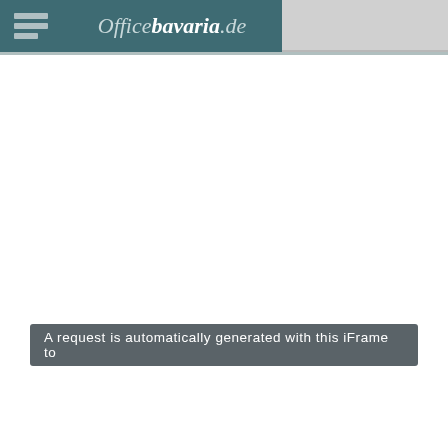officebavaria.de
A request is automatically generated with this iFrame to